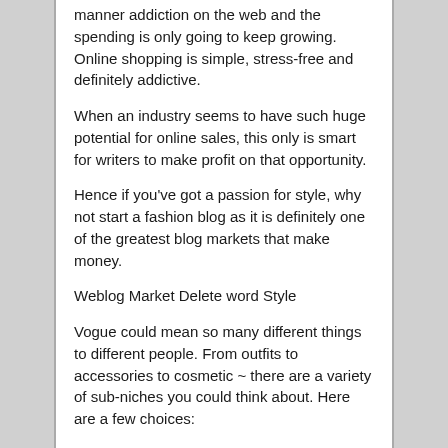manner addiction on the web and the spending is only going to keep growing. Online shopping is simple, stress-free and definitely addictive.
When an industry seems to have such huge potential for online sales, this only is smart for writers to make profit on that opportunity.
Hence if you've got a passion for style, why not start a fashion blog as it is definitely one of the greatest blog markets that make money.
Weblog Market Delete word Style
Vogue could mean so many different things to different people. From outfits to accessories to cosmetic ~ there are a variety of sub-niches you could think about. Here are a few choices:
• Personal vogue blog
• Cosmetic article blog page